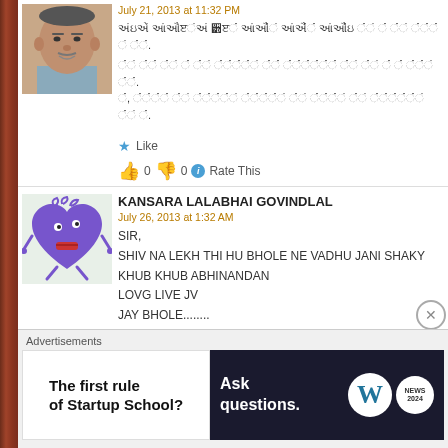July 21, 2013 at 11:32 PM
[Gujarati script text - first comment body]
Like  👍 0  👎 0  ℹ Rate This
KANSARA LALABHAI GOVINDLAL
July 26, 2013 at 1:32 AM
SIR,
SHIV NA LEKH THI HU BHOLE NE VADHU JANI SHAKY
KHUB KHUB ABHINANDAN
LOVG LIVE JV
JAY BHOLE........
Like  👍 0  👎 0  ℹ Rate This
Advertisements
The first rule of Startup School?
Ask questions.